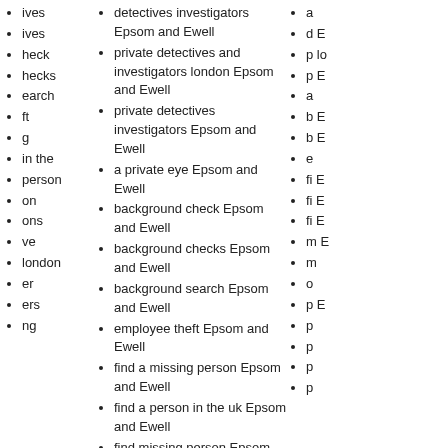ives
ives
heck
hecks
earch
ft
g
in the
person
on
ons
ve
london
er
ers
ng
detectives investigators Epsom and Ewell
private detectives and investigators london Epsom and Ewell
private detectives investigators Epsom and Ewell
a private eye Epsom and Ewell
background check Epsom and Ewell
background checks Epsom and Ewell
background search Epsom and Ewell
employee theft Epsom and Ewell
find a missing person Epsom and Ewell
find a person in the uk Epsom and Ewell
find missing person Epsom and Ewell
missing person search Epsom and Ewell
missing persons Epsom and Ewell
online detective Epsom and Ewell
private eye london Epsom and Ewell
private eyes Epsom and Ewell
process server Epsom and Ewell
process servers Epsom and Ewell
process serving Epsom and Ewell
a
d E
p lo
p E
a
b E
b E
e
fi E
fi E
fi E
m E
m
o
p E
p
p
p
p